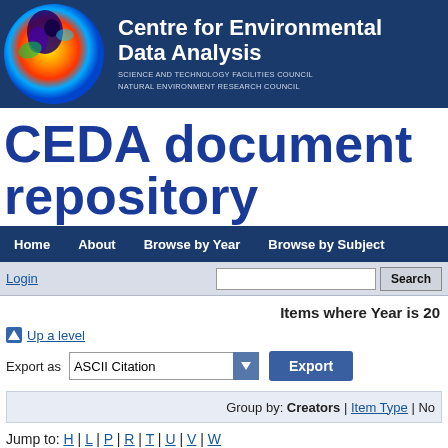[Figure (logo): Centre for Environmental Data Analysis logo banner with globe image and dark navy background, text: Centre for Environmental Data Analysis, Science and Technology Facilities Council, Natural Environment Research Council]
CEDA document repository
Home | About | Browse by Year | Browse by Subject
Login | Search
Items where Year is 20
Up a level
Export as ASCII Citation Export
Group by: Creators | Item Type | No
Jump to: H | L | P | R | T | U | V | W
Number of items: 18.